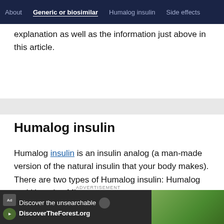About | Generic or biosimilar | Humalog insulin | Side effects
explanation as well as the information just above in this article.
Humalog insulin
Humalog insulin is an insulin analog (a man-made version of the natural insulin that your body makes). There are two types of Humalog insulin: Humalog and Humalog Mix.
Insulin treatment is used in people with diabetes to
[Figure (screenshot): Advertisement banner: Discover the unsearchable / DiscoverTheForest.org with forest background image]